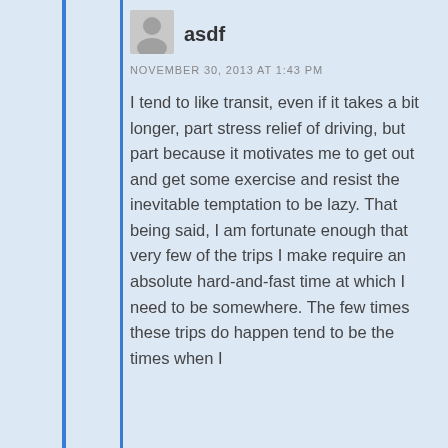[Figure (illustration): Generic user avatar icon (gray silhouette of a person)]
asdf
NOVEMBER 30, 2013 AT 1:43 PM
I tend to like transit, even if it takes a bit longer, part stress relief of driving, but part because it motivates me to get out and get some exercise and resist the inevitable temptation to be lazy. That being said, I am fortunate enough that very few of the trips I make require an absolute hard-and-fast time at which I need to be somewhere. The few times these trips do happen tend to be the times when I